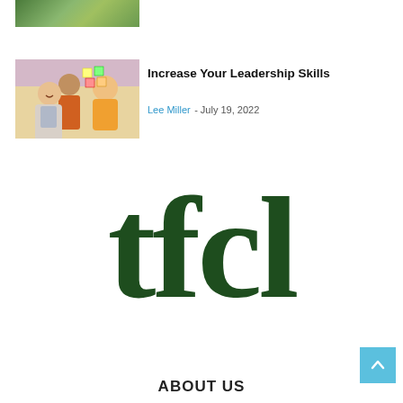[Figure (photo): Partial photo of green leaves/plant at the top left of the page]
[Figure (photo): Photo of people in an office/workshop setting with sticky notes on a wall, a woman smiling holding a tablet]
Increase Your Leadership Skills
Lee Miller - July 19, 2022
[Figure (logo): tfcl logo in large dark green bold serif font]
ABOUT US